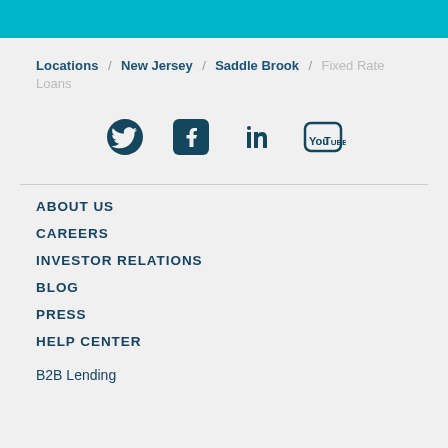Locations / New Jersey / Saddle Brook / Fixed Rate Loans
[Figure (other): Social media icons: Twitter, Facebook, LinkedIn, YouTube]
ABOUT US
CAREERS
INVESTOR RELATIONS
BLOG
PRESS
HELP CENTER
B2B Lending